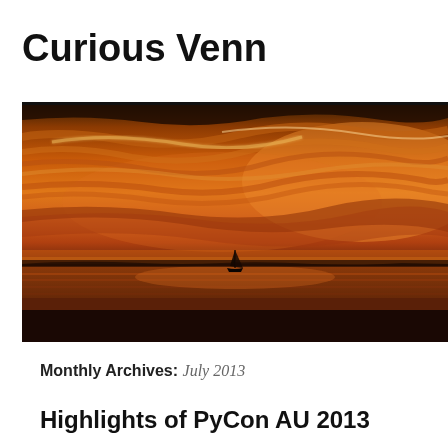Curious Venn
[Figure (photo): A dramatic orange and red sunset over a calm bay/sea, with wispy clouds illuminated in warm tones. A small sailboat silhouette is visible on the horizon. Navigation bar at the bottom shows Home and About links.]
Monthly Archives: July 2013
Highlights of PyCon AU 2013